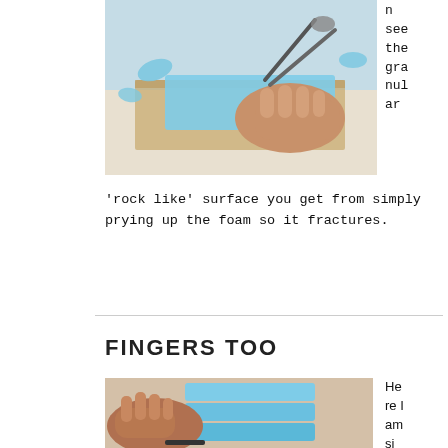[Figure (photo): Hands using scissors or tool on blue foam material on a wooden board, with foam pieces scattered around]
n see the granular
'rock like' surface you get from simply prying up the foam so it fractures.
FINGERS TOO
[Figure (photo): Hand gripping blue foam blocks/pieces being separated or manipulated]
Here I am si mp ly